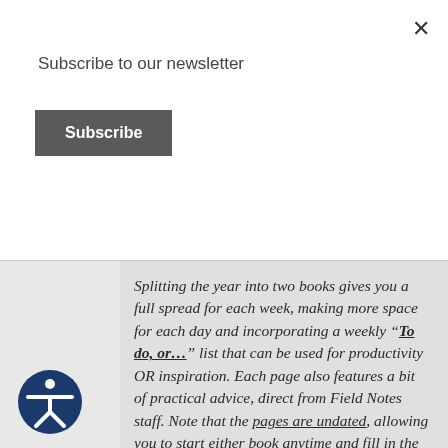Subscribe to our newsletter
Subscribe
Splitting the year into two books gives you a full spread for each week, making more space for each day and incorporating a weekly “To do, or…” list that can be used for productivity OR inspiration. Each page also features a bit of practical advice, direct from Field Notes staff. Note that the pages are undated, allowing you to start either book anytime and fill in the dates as you go.
The third book is a “Checklist Journal” featuring the popular “Screwhead